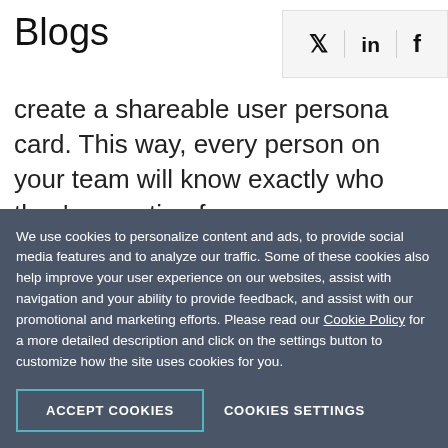Blogs
[Figure (other): Social media share icons: Twitter (bird), LinkedIn (in), Facebook (f)]
create a shareable user persona card. This way, every person on your team will know exactly who they're creating for.
A user persona should include the following information: Photo Name Age Gender Location Bio Quotes
We use cookies to personalize content and ads, to provide social media features and to analyze our traffic. Some of these cookies also help improve your user experience on our websites, assist with navigation and your ability to provide feedback, and assist with our promotional and marketing efforts. Please read our Cookie Policy for a more detailed description and click on the settings button to customize how the site uses cookies for you.
ACCEPT COOKIES
COOKIES SETTINGS